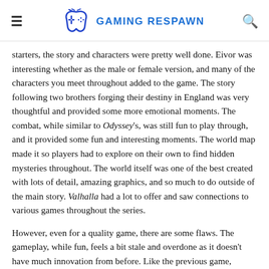GAMING RESPAWN
starters, the story and characters were pretty well done. Eivor was interesting whether as the male or female version, and many of the characters you meet throughout added to the game. The story following two brothers forging their destiny in England was very thoughtful and provided some more emotional moments. The combat, while similar to Odyssey's, was still fun to play through, and it provided some fun and interesting moments. The world map made it so players had to explore on their own to find hidden mysteries throughout. The world itself was one of the best created with lots of detail, amazing graphics, and so much to do outside of the main story. Valhalla had a lot to offer and saw connections to various games throughout the series.
However, even for a quality game, there are some flaws. The gameplay, while fun, feels a bit stale and overdone as it doesn't have much innovation from before. Like the previous game, Valhalla uses the concept of seeing through your pet bird's point of view to replace Eagle Vision; however, while the game gives you Eagle Vision, it otherwise makes your pet raven useless. Some of the side